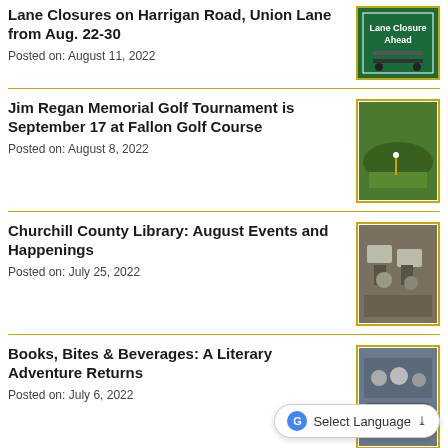Lane Closures on Harrigan Road, Union Lane from Aug. 22-30
Posted on: August 11, 2022
[Figure (photo): Lane Closure Ahead sign on a road]
Jim Regan Memorial Golf Tournament is September 17 at Fallon Golf Course
Posted on: August 8, 2022
[Figure (photo): Outdoor scene at a golf course]
Churchill County Library: August Events and Happenings
Posted on: July 25, 2022
[Figure (photo): People sitting at tables inside a library]
Books, Bites & Beverages: A Literary Adventure Returns
Posted on: July 6, 2022
[Figure (photo): People gathered at an indoor event]
Fallon Community Day Scheduled for July 30
Posted on: July 6, 2022
[Figure (photo): Community day event with car visible]
Select Language